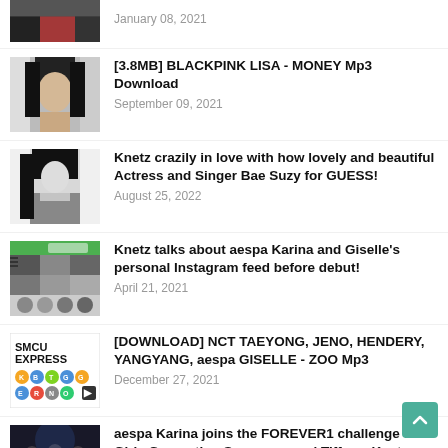[Figure (photo): Partial thumbnail of a person with red hair at top of page]
January 08, 2021
[Figure (photo): Black and white close-up photo of Lisa from BLACKPINK]
[3.8MB] BLACKPINK LISA - MONEY Mp3 Download
September 09, 2021
[Figure (photo): Black and white photo of Bae Suzy in grey outfit]
Knetz crazily in love with how lovely and beautiful Actress and Singer Bae Suzy for GUESS!
August 25, 2022
[Figure (photo): Screenshot of aespa Karina and Giselle Instagram feed]
Knetz talks about aespa Karina and Giselle's personal Instagram feed before debut!
April 21, 2021
[Figure (photo): SMCU EXPRESS album cover with colored circle icons]
[DOWNLOAD] NCT TAEYONG, JENO, HENDERY, YANGYANG, aespa GISELLE - ZOO Mp3
December 27, 2021
[Figure (photo): Photo of aespa Karina with Girls Generation members]
aespa Karina joins the FOREVER1 challenge with Girls Generation Sooyoung and Tiffany, Knetz react.